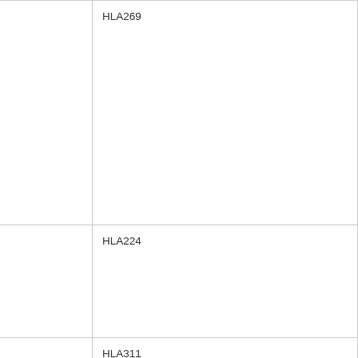| Allele | Source | HLA |
| --- | --- | --- |
| MICA*029:01:02 | DKMS-LSL_ID17329627
DKMS-LSL_ID17361135 | HLA269... |
| MICA*029:02 | WN522A | HLA224... |
| MICA*029:03 | DKMS-LSL_ID18991718 | HLA311... |
| MICA*030 | WKD | HLA013... |